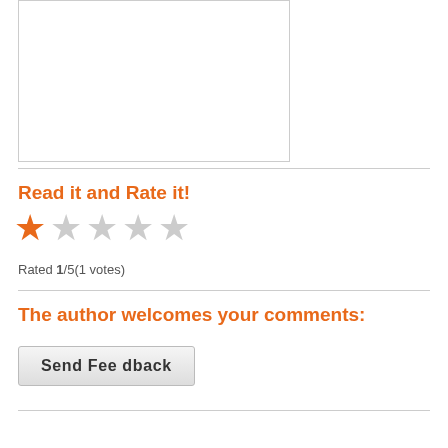[Figure (other): White rectangular text/content box with border at top of page]
Read it and Rate it!
[Figure (other): Star rating widget showing 1 out of 5 stars, first star filled orange, remaining four stars empty grey]
Rated 1/5(1 votes)
The author welcomes your comments:
Send Feedback